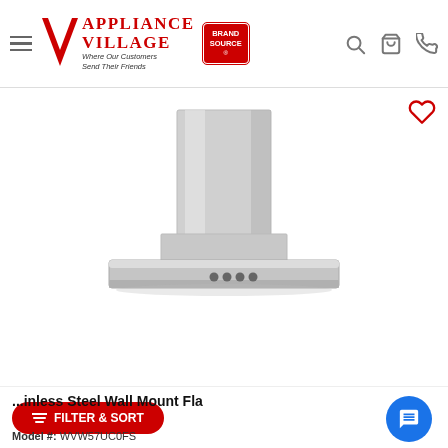Appliance Village — Where Our Customers Send Their Friends | Brand Source
[Figure (photo): Stainless steel wall mount flat range hood with chimney extension, shown against a white background. Product displayed on an e-commerce page.]
Stainless Steel Wall Mount Fla...
Model #: WVW57UC0FS